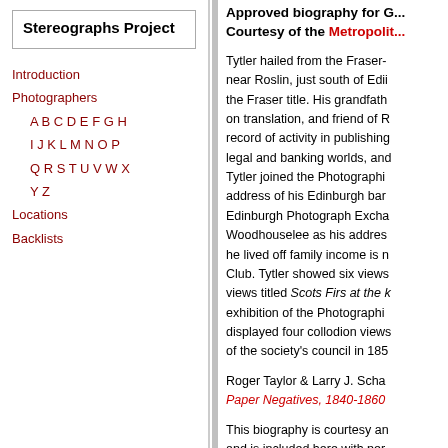Stereographs Project
Introduction
Photographers
A B C D E F G H
I J K L M N O P
Q R S T U V W X
Y Z
Locations
Backlists
Approved biography for G... Courtesy of the Metropolit...
Tytler hailed from the Fraser- near Roslin, just south of Edii the Fraser title. His grandfath on translation, and friend of R record of activity in publishing legal and banking worlds, and Tytler joined the Photographi address of his Edinburgh bar Edinburgh Photograph Excha Woodhouselee as his addres he lived off family income is n Club. Tytler showed six views views titled Scots Firs at the k exhibition of the Photographi displayed four collodion views of the society's council in 185
Roger Taylor & Larry J. Scha Paper Negatives, 1840-1860
This biography is courtesy an and is included here with per
Date last updated: 4 Nov 201
SHARED BIOGRAPHIC...